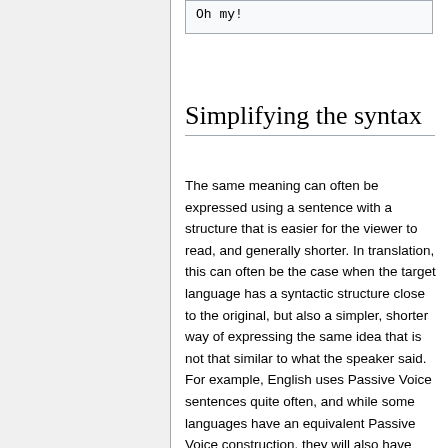Oh my!
Simplifying the syntax
The same meaning can often be expressed using a sentence with a structure that is easier for the viewer to read, and generally shorter. In translation, this can often be the case when the target language has a syntactic structure close to the original, but also a simpler, shorter way of expressing the same idea that is not that similar to what the speaker said. For example, English uses Passive Voice sentences quite often, and while some languages have an equivalent Passive Voice construction, they will also have other, more commonly used and simpler ways of expressing the same idea.